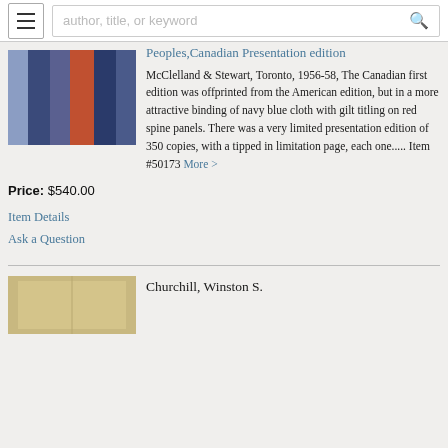author, title, or keyword
Peoples,Canadian Presentation edition
McClelland & Stewart, Toronto, 1956-58, The Canadian first edition was offprinted from the American edition, but in a more attractive binding of navy blue cloth with gilt titling on red spine panels. There was a very limited presentation edition of 350 copies, with a tipped in limitation page, each one..... Item #50173 More >
Price: $540.00
Item Details
Ask a Question
Churchill, Winston S.